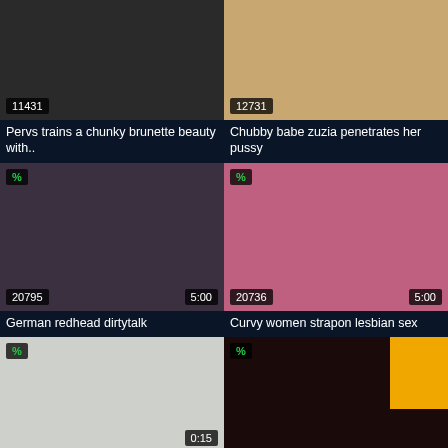[Figure (photo): Video thumbnail 1 with view count 11431]
Pervs trains a chunky brunette beauty with..
[Figure (photo): Video thumbnail 2 with view count 12731]
Chubby babe zuzia penetrates her pussy
[Figure (photo): Video thumbnail 3 with percentage badge, duration 5:00 and view count 20795]
German redhead dirtytalk
[Figure (photo): Video thumbnail 4 with percentage badge, duration 5:00 and view count 20736]
Curvy women strapon lesbian sex
[Figure (photo): Video thumbnail 5 with percentage badge, duration 0:15]
[Figure (photo): Video thumbnail 6 with percentage badge and yellow block overlay]